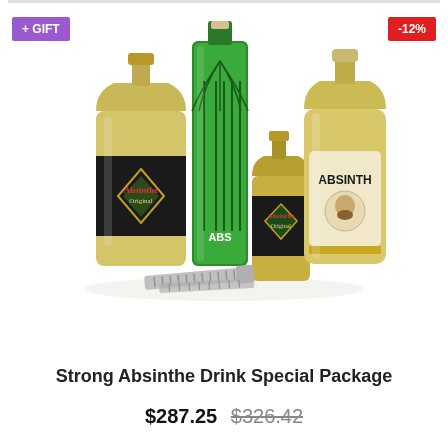[Figure (photo): Product photo of a Strong Absinthe Drink Special Package showing multiple absinthe bottles including Absinthe Original (large flat bottle), a tall green absinthe bottle, a small Absinthe Original bottle, and an Absinth bottle, along with a corkscrew/bottle opener accessory. Badges show '+ GIFT' in purple and '-12%' in red.]
Strong Absinthe Drink Special Package
$287.25  $326.42